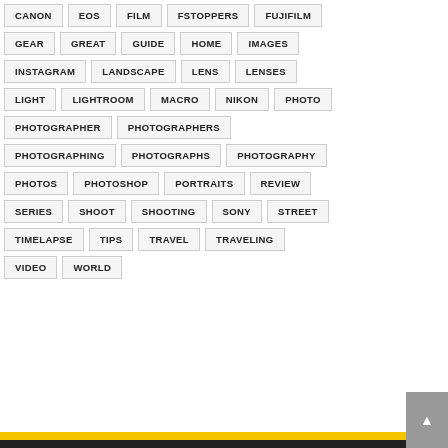CANON
EOS
FILM
FSTOPPERS
FUJIFILM
GEAR
GREAT
GUIDE
HOME
IMAGES
INSTAGRAM
LANDSCAPE
LENS
LENSES
LIGHT
LIGHTROOM
MACRO
NIKON
PHOTO
PHOTOGRAPHER
PHOTOGRAPHERS
PHOTOGRAPHING
PHOTOGRAPHS
PHOTOGRAPHY
PHOTOS
PHOTOSHOP
PORTRAITS
REVIEW
SERIES
SHOOT
SHOOTING
SONY
STREET
TIMELAPSE
TIPS
TRAVEL
TRAVELING
VIDEO
WORLD